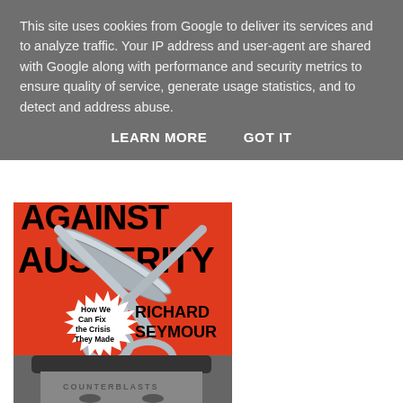This site uses cookies from Google to deliver its services and to analyze traffic. Your IP address and user-agent are shared with Google along with performance and security metrics to ensure quality of service, generate usage statistics, and to detect and address abuse.
LEARN MORE   GOT IT
[Figure (illustration): Book cover of 'Against Austerity: How We Can Fix the Crisis They Made' by Richard Seymour. Red background with large scissors and bold black text.]
[Figure (photo): Black and white photo showing the top portion of a person's face with 'COUNTERBLASTS' text visible.]